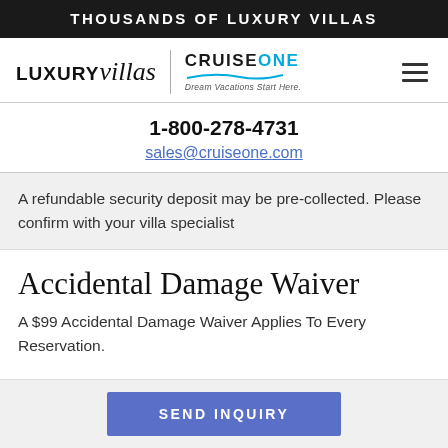THOUSANDS OF LUXURY VILLAS
[Figure (logo): LUXURYvillas logo with italic script and CruiseOne Dream Vacations Start Here logo]
1-800-278-4731
sales@cruiseone.com
A refundable security deposit may be pre-collected. Please confirm with your villa specialist
Accidental Damage Waiver
A $99 Accidental Damage Waiver Applies To Every Reservation.
SEND INQUIRY